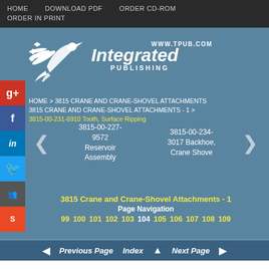HOME   DOWNLOAD PDF   ORDER CD-ROM   ORDER IN PRINT
[Figure (logo): Integrated Publishing logo with bird/feather graphic, www.tpub.com]
HOME > 3815 CRANE AND CRANE-SHOVEL ATTACHMENTS 3815 CRANE AND CRANE-SHOVEL ATTACHMENTS - 1 > 3815-00-231-6910 Tooth, Surface Ripping
3815-00-227-9572 Reservoir Assembly
3815-00-234-3017 Backhoe, Crane Shove
3815 Crane and Crane-Shovel Attachments - 1
Page Navigation
99 100 101 102 103 104 105 106 107 108 109
◄ Previous Page   Index ▲   Next Page ►